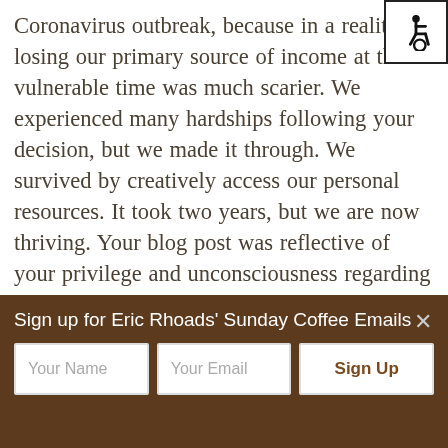Coronavirus outbreak, because in a reality, losing our primary source of income at that vulnerable time was much scarier. We experienced many hardships following your decision, but we made it through. We survived by creatively access our personal resources. It took two years, but we are now thriving. Your blog post was reflective of your privilege and unconsciousness regarding how your choices impact others. You're not alone. Your blog post was a mirror
[Figure (other): Wheelchair accessibility icon in a bordered square, top-right corner]
Sign up for Eric Rhoads' Sunday Coffee Emails
Your Name | Your Email | Sign Up